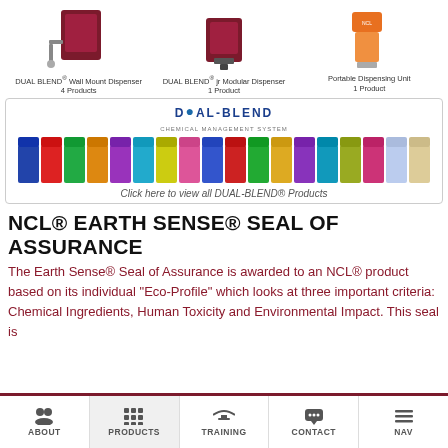[Figure (photo): Three product dispensers: DUAL BLEND Wall Mount Dispenser (4 Products), DUAL BLEND jr Modular Dispenser (1 Product), Portable Dispensing Unit (1 Product)]
DUAL BLEND® Wall Mount Dispenser
4 Products
DUAL BLEND® jr Modular Dispenser
1 Product
Portable Dispensing Unit
1 Product
[Figure (photo): DUAL-BLEND product line banner showing rows of colorful cleaning product bottles with DUAL-BLEND logo]
Click here to view all DUAL-BLEND® Products
NCL® EARTH SENSE® SEAL OF ASSURANCE
The Earth Sense® Seal of Assurance is awarded to an NCL® product based on its individual "Eco-Profile" which looks at three important criteria: Chemical Ingredients, Human Toxicity and Environmental Impact. This seal is
ABOUT   PRODUCTS   TRAINING   CONTACT   NAV